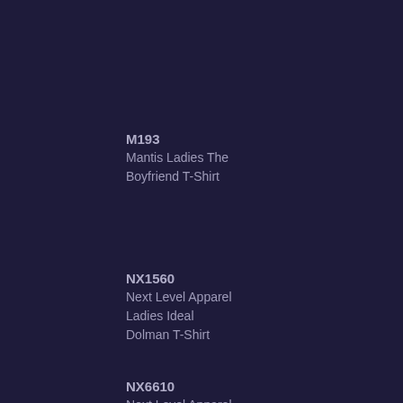M193
Mantis Ladies The Boyfriend T-Shirt
NX1560
Next Level Apparel Ladies Ideal Dolman T-Shirt
NX6610
Next Level Apparel Ladies CVC T-Shirt